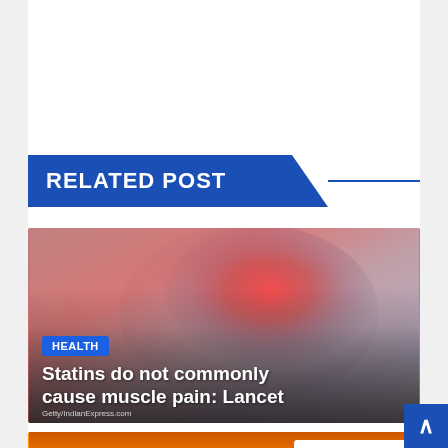RELATED POST
[Figure (photo): Person holding knee with reddish glow indicating pain/inflammation, used as thumbnail for article about statins and muscle pain]
Statins do not commonly cause muscle pain: Lancet
[Figure (photo): Silhouette against sunset background with Sleep 101 logo overlay in top right corner]